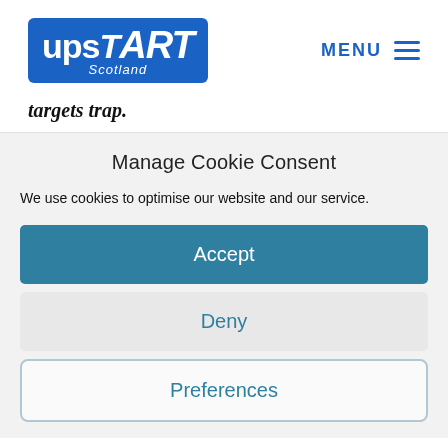[Figure (logo): Upstart Scotland logo — blue rounded rectangle with white handwritten-style text 'upstART' and italic 'Scotland' underneath]
MENU ≡
targets trap.
Manage Cookie Consent
We use cookies to optimise our website and our service.
Accept
Deny
Preferences